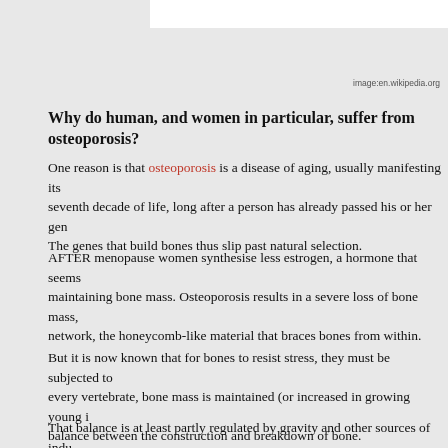image:en.wikipedia.org
Why do human, and women in particular, suffer from osteoporosis?
One reason is that osteoporosis is a disease of aging, usually manifesting its seventh decade of life, long after a person has already passed his or her gen The genes that build bones thus slip past natural selection.
AFTER menopause women synthesise less estrogen, a hormone that seems maintaining bone mass. Osteoporosis results in a severe loss of bone mass, network, the honeycomb-like material that braces bones from within.
But it is now known that for bones to resist stress, they must be subjected to every vertebrate, bone mass is maintained (or increased in growing young i balance between the construction and breakdown of bone.
That balance is at least partly regulated by gravity and other sources of indu with serious injuries from road accidents can lose up to 50 percent of their b weeks because their bones do not experience mechanical stresses while the